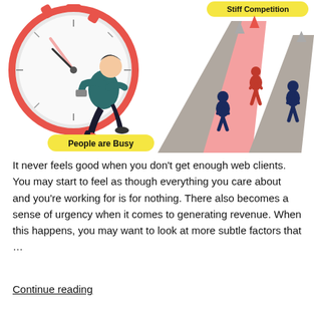[Figure (illustration): Two-part illustration. Left side: a businessman running urgently in front of a large red stopwatch/clock, with a yellow label 'People are Busy' at the bottom. Right side: three silhouette runners on converging lanes (red/pink center lane, gray side lanes) heading toward arrows, with a yellow label 'Stiff Competition' at the top right.]
It never feels good when you don't get enough web clients. You may start to feel as though everything you care about and you're working for is for nothing. There also becomes a sense of urgency when it comes to generating revenue. When this happens, you may want to look at more subtle factors that …
Continue reading